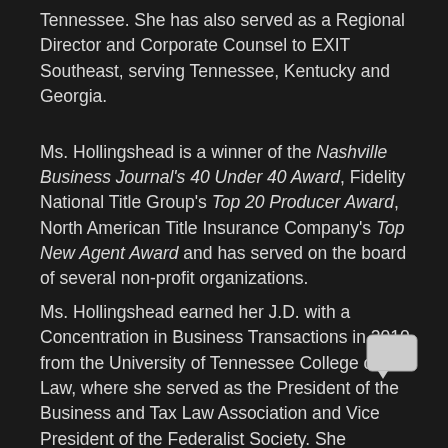Tennessee. She has also served as a Regional Director and Corporate Counsel to EXIT Southeast, serving Tennessee, Kentucky and Georgia.
Ms. Hollingshead is a winner of the Nashville Business Journal's 40 Under 40 Award, Fidelity National Title Group's Top 20 Producer Award, North American Title Insurance Company's Top New Agent Award and has served on the board of several non-profit organizations.
Ms. Hollingshead earned her J.D. with a Concentration in Business Transactions in 2010, from the University of Tennessee College of Law, where she served as the President of the Business and Tax Law Association and Vice President of the Federalist Society. She graduated from David Lipscomb University in 2005, with a B.A. in Oral Communication and Political Science. She is a currently a member of the American and Tennessee